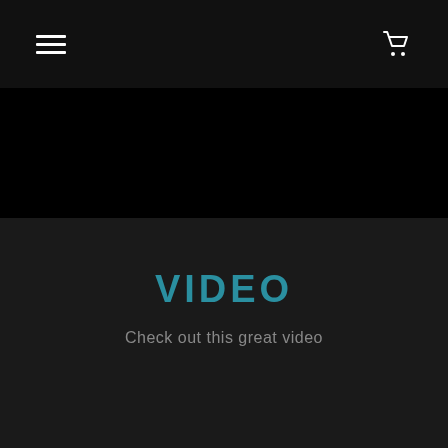Navigation bar with hamburger menu and cart icon
[Figure (other): Black video banner/placeholder area]
VIDEO
Check out this great video